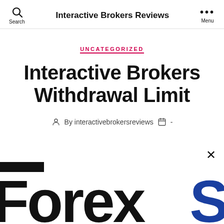Interactive Brokers Reviews
UNCATEGORIZED
Interactive Brokers Withdrawal Limit
By interactivebrokersreviews  -
[Figure (screenshot): Partial ForexS logo/banner in dark and blue colors, cropped at the bottom of the page]